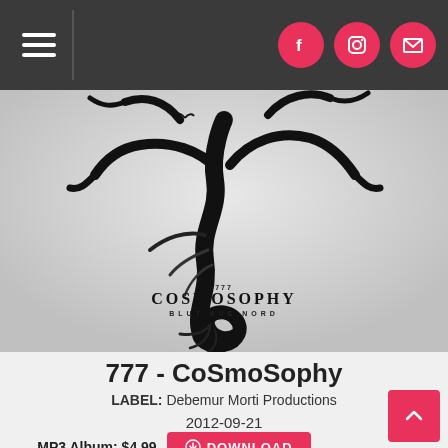Navigation bar with hamburger menu and social icons (Facebook, Instagram, Email)
[Figure (illustration): Album cover artwork for '777 - CoSmoSophy' by Blut Aus Nord. Dark black tentacle/snake figure against a light grey background. Text at bottom reads '777 COSMOSOPHY BLUT AUS NORD'.]
777 - CoSmoSophy
LABEL: Debemur Morti Productions
2012-09-21
MP3 Album: $4.99 DOWNLOAD